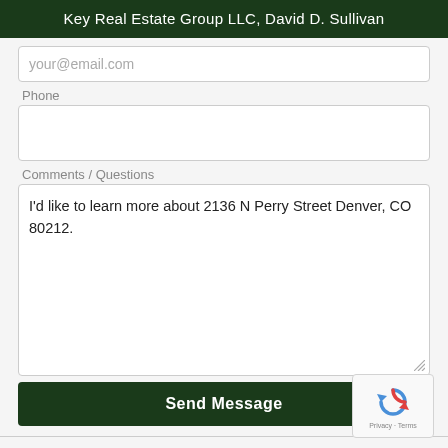Key Real Estate Group LLC, David D. Sullivan
your@email.com
Phone
Comments / Questions
I'd like to learn more about 2136 N Perry Street Denver, CO 80212.
Send Message
[Figure (other): reCAPTCHA widget with circular arrow icon and Privacy - Terms text]